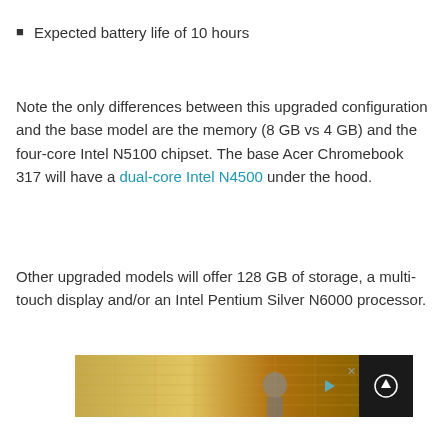Expected battery life of 10 hours
Note the only differences between this upgraded configuration and the base model are the memory (8 GB vs 4 GB) and the four-core Intel N5100 chipset. The base Acer Chromebook 317 will have a dual-core Intel N4500 under the hood.
Other upgraded models will offer 128 GB of storage, a multi-touch display and/or an Intel Pentium Silver N6000 processor.
[Figure (photo): Advertisement banner showing a building exterior with a person and navigation controls including play and close buttons, plus a dark panel with an upward arrow.]